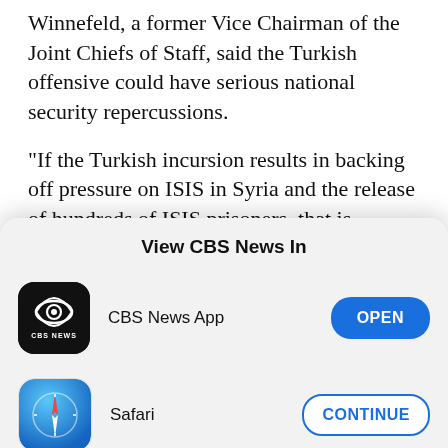Winnefeld, a former Vice Chairman of the Joint Chiefs of Staff, said the Turkish offensive could have serious national security repercussions.
"If the Turkish incursion results in backing off pressure on ISIS in Syria and the release of hundreds of ISIS prisoners, that is potentially very destabilizing," Winnefeld said. "It poses a threat not only to the United States, but to a lot of our partners in Europe and elsewhere in the region."
View CBS News In
[Figure (logo): CBS News app icon — black square with rounded corners, CBS eye logo in white, text CBS NEWS below]
CBS News App
OPEN
[Figure (logo): Safari browser icon — compass rose on blue gradient background]
Safari
CONTINUE